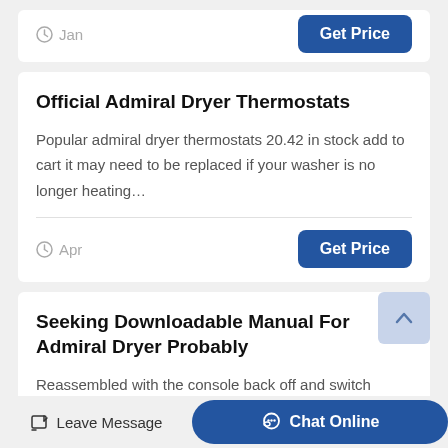Jan
Get Price
Official Admiral Dryer Thermostats
Popular admiral dryer thermostats 20.42 in stock add to cart it may need to be replaced if your washer is no longer heating…
Apr
Get Price
Seeking Downloadable Manual For Admiral Dryer Probably
Reassembled with the console back off and switch dangling loose, no, dont try this at home, plugged it in and tested it. dryer heate…
Leave Message  Chat Online